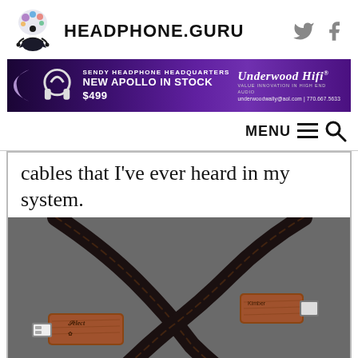HEADPHONE.GURU
[Figure (illustration): Headphone.Guru logo with meditating figure and colorful brain/headphone graphic]
[Figure (infographic): Purple advertisement banner: Sendy Headphone Headquarters - New Apollo In Stock $499 - Underwood HiFi - undwoodwally@aol.com | 770.667.5633]
MENU
cables that I've ever heard in my system.
[Figure (photo): Close-up photo of premium audio USB cables with wooden connectors labeled 'Select', dark braided cable on gray background]